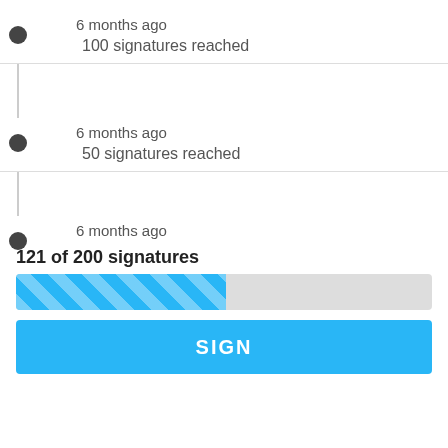6 months ago — 100 signatures reached
6 months ago — 50 signatures reached
6 months ago
121 of 200 signatures
[Figure (infographic): Progress bar showing 121 of 200 signatures, approximately 60% filled with blue diagonal stripes]
SIGN